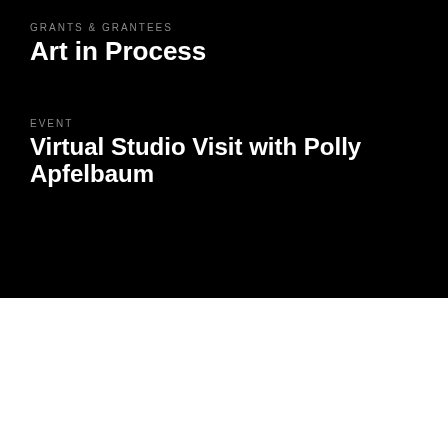GRANTS & GRANTEES
Art in Process
EVENT
Virtual Studio Visit with Polly Apfelbaum
SUBSCRIBE
THE PEW CENTER
FOR ARTS & HERITAGE
1608 WALNUT STREET, 18TH FL